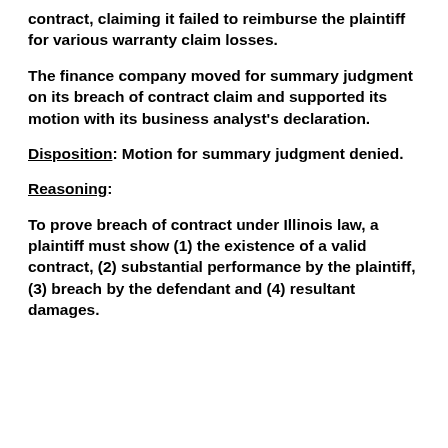contract, claiming it failed to reimburse the plaintiff for various warranty claim losses.
The finance company moved for summary judgment on its breach of contract claim and supported its motion with its business analyst's declaration.
Disposition: Motion for summary judgment denied.
Reasoning:
To prove breach of contract under Illinois law, a plaintiff must show (1) the existence of a valid contract, (2) substantial performance by the plaintiff, (3) breach by the defendant and (4) resultant damages.